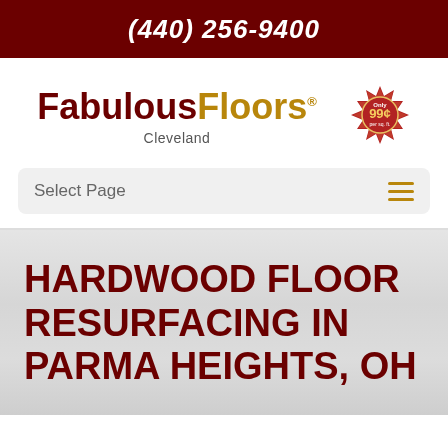(440) 256-9400
[Figure (logo): Fabulous Floors Cleveland logo with bold dark red 'Fabulous' and golden 'Floors' text, with registered trademark symbol, and 'Cleveland' subtitle below]
[Figure (other): Red circular badge seal with 'Only 99¢ per sq. ft.' text in white and yellow]
Select Page
HARDWOOD FLOOR RESURFACING IN PARMA HEIGHTS, OH